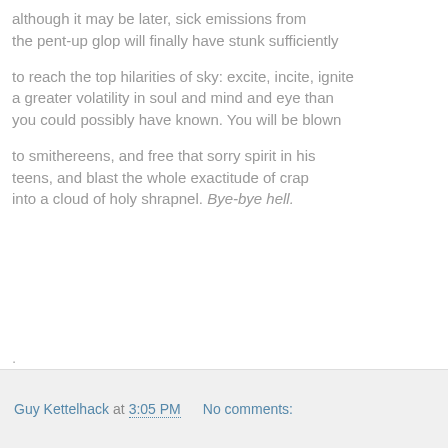although it may be later, sick emissions from the pent-up glop will finally have stunk sufficiently
to reach the top hilarities of sky: excite, incite, ignite a greater volatility in soul and mind and eye than you could possibly have known. You will be blown
to smithereens, and free that sorry spirit in his teens, and blast the whole exactitude of crap into a cloud of holy shrapnel. Bye-bye hell.
.
Guy Kettelhack at 3:05 PM   No comments: